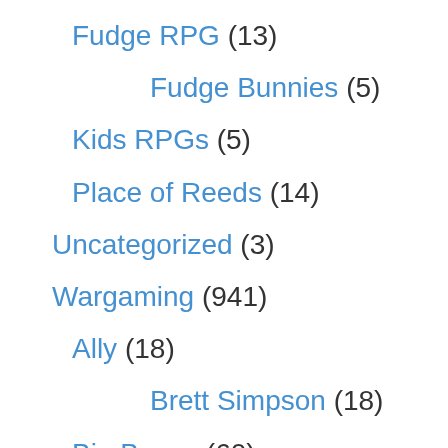Fudge RPG (13)
Fudge Bunnies (5)
Kids RPGs (5)
Place of Reeds (14)
Uncategorized (3)
Wargaming (941)
Ally (18)
Brett Simpson (18)
Big Bases (60)
Campaign (99)
DBA Campaign (8)
Linked Scenario Campaign (10)
Mapless Campaign (4)